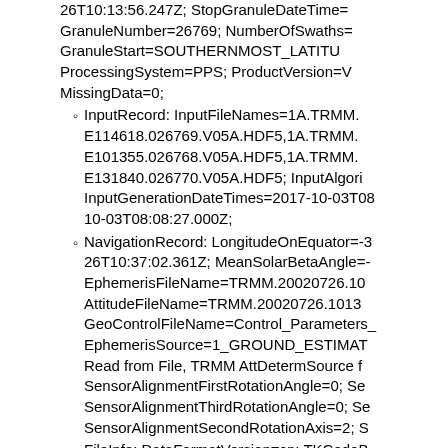26T10:13:56.247Z; StopGranuleDateTime=GranuleNumber=26769; NumberOfSwaths=GranuleStart=SOUTHERNMOST_LATITUProcessingSystem=PPS; ProductVersion=VMissingData=0;
InputRecord: InputFileNames=1A.TRMM.E114618.026769.V05A.HDF5,1A.TRMM.E101355.026768.V05A.HDF5,1A.TRMM.E131840.026770.V05A.HDF5; InputAlgoriInputGenerationDateTimes=2017-10-03T0810-03T08:08:27.000Z;
NavigationRecord: LongitudeOnEquator=-326T10:37:02.361Z; MeanSolarBetaAngle=-EphemerisFileName=TRMM.20020726.10AttitudeFileName=TRMM.20020726.1013GeoControlFileName=Control_Parameters_EphemerisSource=1_GROUND_ESTIMATRead from File, TRMM AttDetermSource fSensorAlignmentFirstRotationAngle=0; SeSensorAlignmentThirdRotationAngle=0; SeSensorAlignmentSecondRotationAxis=2; S
FileInfo: DataFormatVersion=cn; TKCodeBFormatPackage=HDF5-1.8.9; BlueprintFileBlueprintVersion=BV_58; TKIOVersion=3.EndianType=LITTLE_ENDIAN;